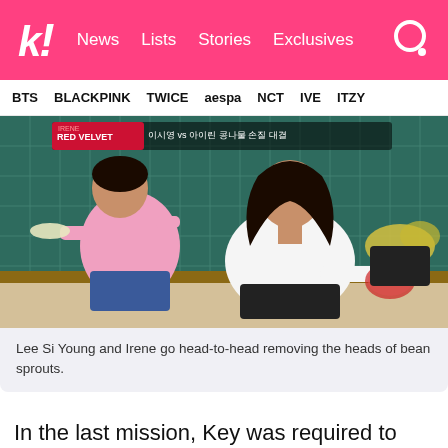k! News  Lists  Stories  Exclusives
BTS  BLACKPINK  TWICE  aespa  NCT  IVE  ITZY
[Figure (photo): Lee Si Young and Irene sitting on floor removing heads of bean sprouts on a Korean TV show. Korean text overlay visible at top.]
Lee Si Young and Irene go head-to-head removing the heads of bean sprouts.
In the last mission, Key was required to mix the codfish soup's leftovers with rice to create